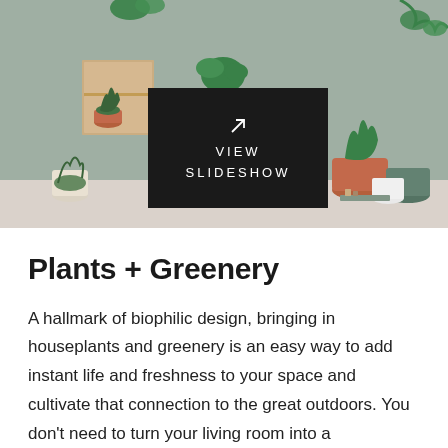[Figure (photo): Photo of various houseplants in terracotta, white, and green pots arranged on shelves and a small black side table against a sage green wall. A black overlay button in the center reads 'VIEW SLIDESHOW'.]
Plants + Greenery
A hallmark of biophilic design, bringing in houseplants and greenery is an easy way to add instant life and freshness to your space and cultivate that connection to the great outdoors. You don't need to turn your living room into a greenhouse to experience the serotonin-boosting effects of houseplants